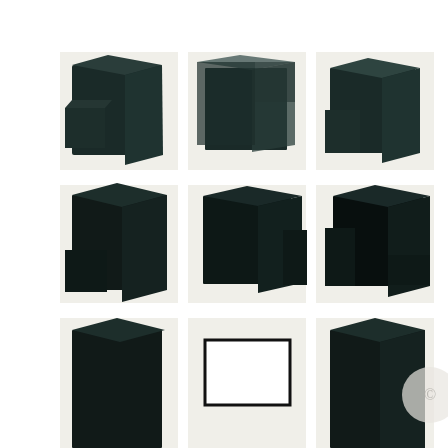[Figure (photo): Grid of 9 photographs showing dark foam/sponge cube sculptures in various arrangements and rotations on light backgrounds. Top row: three images of dark teal/black foam cubes with protruding block forms. Middle row: three images of darker, more shadow-heavy foam cube compositions. Bottom row: partially visible third row with three more images including what appears to be a framed white rectangle and a dark cube on white.]